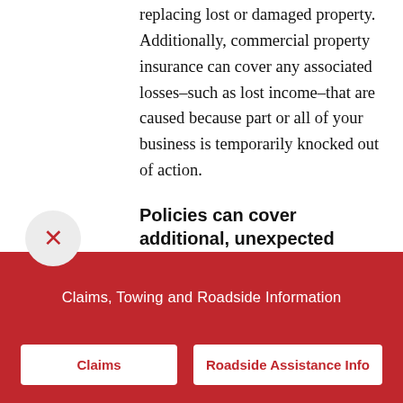replacing lost or damaged property. Additionally, commercial property insurance can cover any associated losses–such as lost income–that are caused because part or all of your business is temporarily knocked out of action.
Policies can cover additional, unexpected costs.
It's worth exploring the options available to you with a business property insurance policy, as they
Claims, Towing and Roadside Information
Claims
Roadside Assistance Info